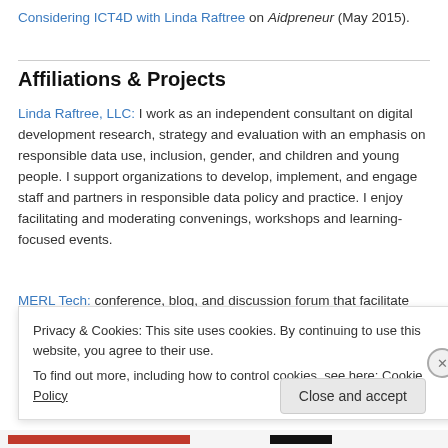Considering ICT4D with Linda Raftree on Aidpreneur (May 2015).
Affiliations & Projects
Linda Raftree, LLC: I work as an independent consultant on digital development research, strategy and evaluation with an emphasis on responsible data use, inclusion, gender, and children and young people. I support organizations to develop, implement, and engage staff and partners in responsible data policy and practice. I enjoy facilitating and moderating convenings, workshops and learning-focused events.
MERL Tech: conference, blog, and discussion forum that facilitate
Privacy & Cookies: This site uses cookies. By continuing to use this website, you agree to their use.
To find out more, including how to control cookies, see here: Cookie Policy
Close and accept